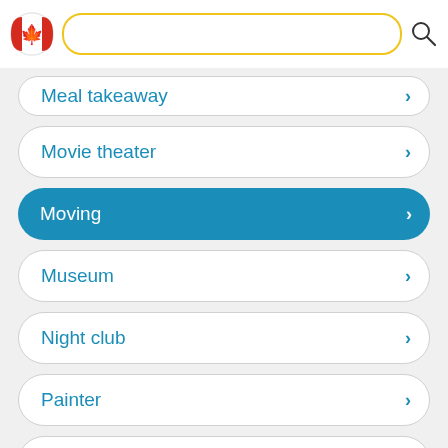[Figure (screenshot): Mobile app top bar with Canadian flag icon, yellow-bordered search box, and search magnifier icon]
Meal takeaway
Movie theater
Moving
Museum
Night club
Painter
Park
Parking